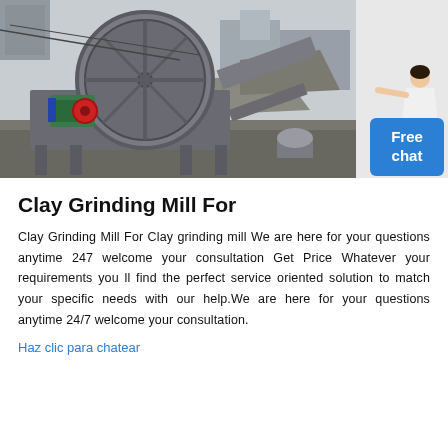[Figure (photo): Industrial clay grinding mill machine photographed outdoors at a work site. The machine features a large circular wheel/drum mechanism, green motor, and red component, mounted on a grey steel frame. Background shows industrial debris and buildings.]
Clay Grinding Mill For
Clay Grinding Mill For Clay grinding mill We are here for your questions anytime 247 welcome your consultation Get Price Whatever your requirements you ll find the perfect service oriented solution to match your specific needs with our help.We are here for your questions anytime 24/7 welcome your consultation.
Haz clic para chatear